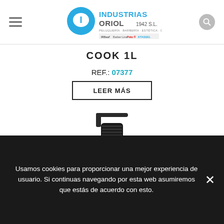[Figure (logo): Industrias Oriol 1942 S.L. logo with brand icons below (Peluquería · Barbería · Estética · Cosmética)]
COOK 1L
REF.: 07377
LEER MÁS
[Figure (photo): Product bottle with black pump dispenser top, partially visible]
Usamos cookies para proporcionar una mejor experiencia de usuario. Si continuas navegando por esta web asumiremos que estás de acuerdo con esto.